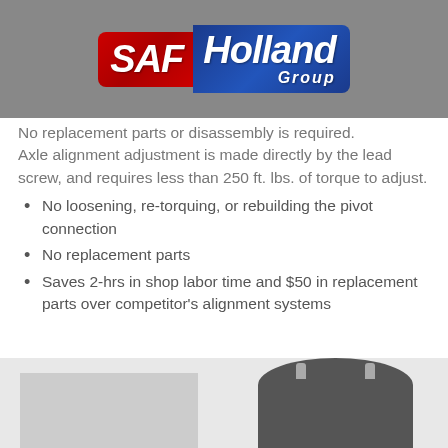[Figure (logo): SAF-Holland Group logo with red SAF and blue Holland text on grey background]
No replacement parts or disassembly is required. Axle alignment adjustment is made directly by the lead screw, and requires less than 250 ft. lbs. of torque to adjust.
No loosening, re-torquing, or rebuilding the pivot connection
No replacement parts
Saves 2-hrs in shop labor time and $50 in replacement parts over competitor's alignment systems
[Figure (photo): Bottom portion showing two product images: a grey rectangular component on the left and a dark round air spring/suspension component on the right]